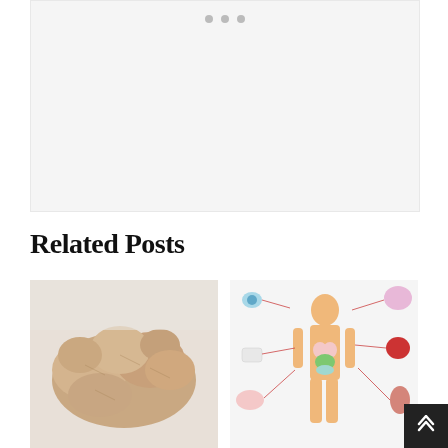[Figure (other): Light gray placeholder box with three small dots at the top, representing a carousel or media slideshow placeholder]
Related Posts
[Figure (photo): Close-up photo of fresh ginger root against a light gray/white background]
[Figure (illustration): Medical illustration of a human body diagram showing internal organs and systems with connecting lines pointing to isolated organ illustrations (eye/brain, heart, lungs, digestive system) on both sides of the body figure]